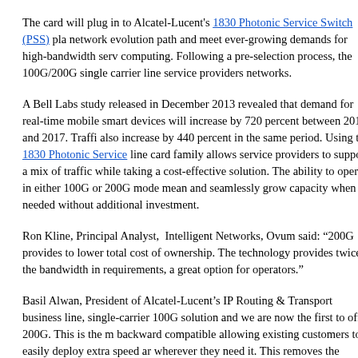The card will plug in to Alcatel-Lucent's 1830 Photonic Service Switch (PSS) pla network evolution path and meet ever-growing demands for high-bandwidth serv computing. Following a pre-selection process, the 100G/200G single carrier line service providers networks.
A Bell Labs study released in December 2013 revealed that demand for real-time mobile smart devices will increase by 720 percent between 2012 and 2017. Traffi also increase by 440 percent in the same period. Using the 1830 Photonic Service line card family allows service providers to support a mix of traffic while taking a cost-effective solution. The ability to operate in either 100G or 200G mode mean and seamlessly grow capacity when needed without additional investment.
Ron Kline, Principal Analyst,  Intelligent Networks, Ovum said: “200G provides to lower total cost of ownership. The technology provides twice the bandwidth in requirements, a great option for operators.”
Basil Alwan, President of Alcatel-Lucent’s IP Routing & Transport business line, single-carrier 100G solution and we are now the first to offer 200G. This is the m backward compatible allowing existing customers to easily deploy extra speed ar wherever they need it. This removes the inefficiency of having to predict future d